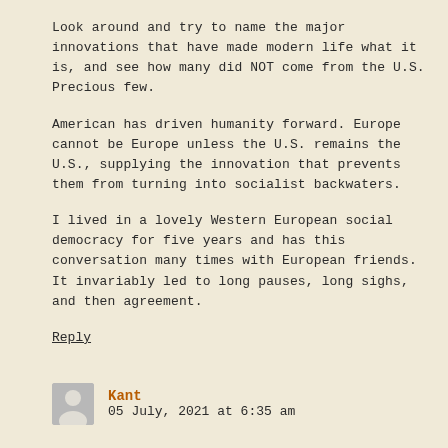Look around and try to name the major innovations that have made modern life what it is, and see how many did NOT come from the U.S. Precious few.
American has driven humanity forward. Europe cannot be Europe unless the U.S. remains the U.S., supplying the innovation that prevents them from turning into socialist backwaters.
I lived in a lovely Western European social democracy for five years and has this conversation many times with European friends. It invariably led to long pauses, long sighs, and then agreement.
Reply
Kant
05 July, 2021 at 6:35 am